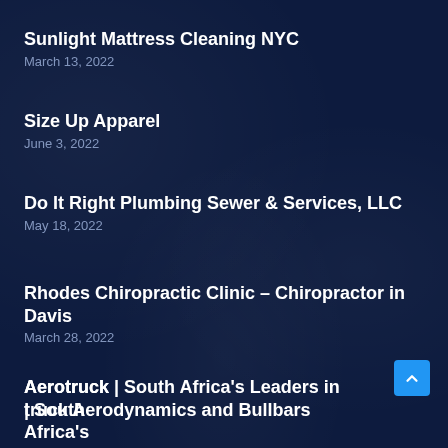Sunlight Mattress Cleaning NYC
March 13, 2022
Size Up Apparel
June 3, 2022
Do It Right Plumbing Sewer & Services, LLC
May 18, 2022
Rhodes Chiropractic Clinic – Chiropractor in Davis
March 28, 2022
Aerotruck | South Africa's Leaders in truck Aerodynamics and Bullbars
July 15, 2022